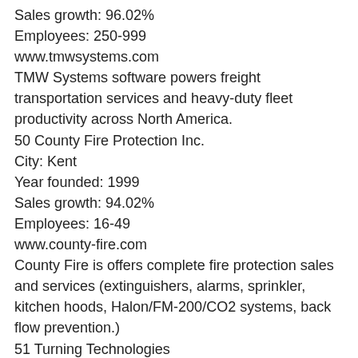Sales growth: 96.02%
Employees: 250-999
www.tmwsystems.com
TMW Systems software powers freight transportation services and heavy-duty fleet productivity across North America.
50 County Fire Protection Inc.
City: Kent
Year founded: 1999
Sales growth: 94.02%
Employees: 16-49
www.county-fire.com
County Fire is offers complete fire protection sales and services (extinguishers, alarms, sprinkler, kitchen hoods, Halon/FM-200/CO2 systems, back flow prevention.)
51 Turning Technologies
City: Youngstown
Year founded: 2002